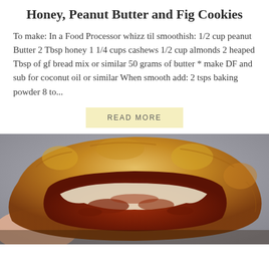Honey, Peanut Butter and Fig Cookies
To make: In a Food Processor whizz til smoothish: 1/2 cup peanut Butter 2 Tbsp honey 1 1/4 cups cashews 1/2 cup almonds 2 heaped Tbsp of gf bread mix or similar 50 grams of butter * make DF and sub for coconut oil or similar When smooth add: 2 tsps baking powder 8 to...
READ MORE
[Figure (photo): Close-up photo of a hand holding a baked cookie or pastry broken open, showing a melted cheese and meat filling inside a golden-brown crust.]